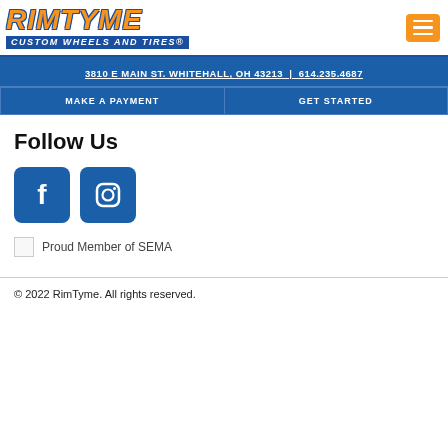[Figure (logo): RimTyme Custom Wheels and Tires logo with orange italic lettering and blue banner subtitle]
3810 E MAIN ST. WHITEHALL, OH 43213  |  614.235.4687
MAKE A PAYMENT
GET STARTED
Follow Us
[Figure (logo): Facebook icon square blue button]
[Figure (logo): Instagram icon square blue button]
[Figure (other): Proud Member of SEMA (broken image placeholder)]
© 2022 RimTyme. All rights reserved.